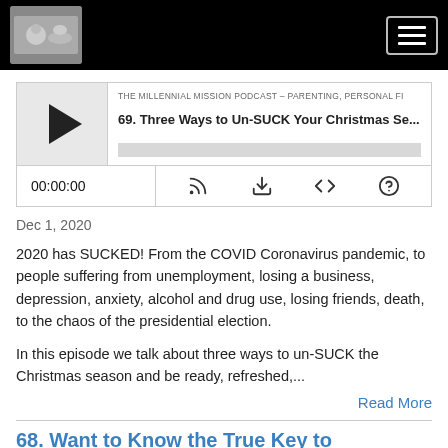[Figure (screenshot): Black navigation bar with podcast logo image on left and hamburger menu icon on right]
[Figure (screenshot): Podcast audio player widget showing play button, episode title '69. Three Ways to Un-SUCK Your Christmas Se...', progress bar, time display 00:00:00, and control icons (RSS, download, embed, share)]
Dec 1, 2020
2020 has SUCKED! From the COVID Coronavirus pandemic, to people suffering from unemployment, losing a business, depression, anxiety, alcohol and drug use, losing friends, death, to the chaos of the presidential election.
In this episode we talk about three ways to un-SUCK the Christmas season and be ready, refreshed,...
Read More
68. Want to Know the True Key to